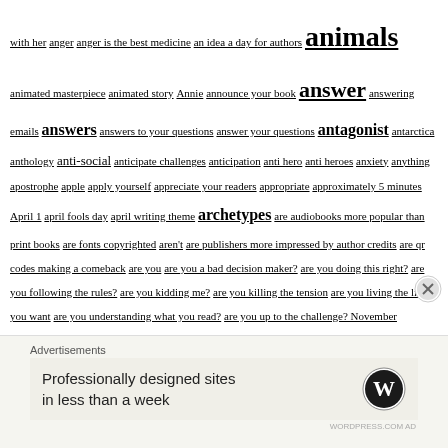with her anger anger is the best medicine an idea a day for authors animals animated masterpiece animated story Annie announce your book answer answering emails answers answers to your questions answer your questions antagonist antarctica anthology anti-social anticipate challenges anticipation anti hero anti heroes anxiety anything apostrophe apple apply yourself appreciate your readers appropriate approximately 5 minutes April 1 april fools day april writing theme archetypes are audiobooks more popular than print books are fonts copyrighted aren't are publishers more impressed by author credits are qr codes making a comeback are you are you a bad decision maker? are you doing this right? are you following the rules? are you kidding me? are you killing the tension are you living the life you want are you understanding what you read? are you up to the challenge? November argentina around the bay around the world arragance arrogance need not apply art article about customer experience for authors articles artificial intelligence artificial intelligence is taking over the book business art is subjective artist artists arts asd a secret in the pumpkin patch ashamed ask ask any question about writing and publishing ask a
[Figure (other): Advertisement block: 'Professionally designed sites in less than a week' with WordPress logo]